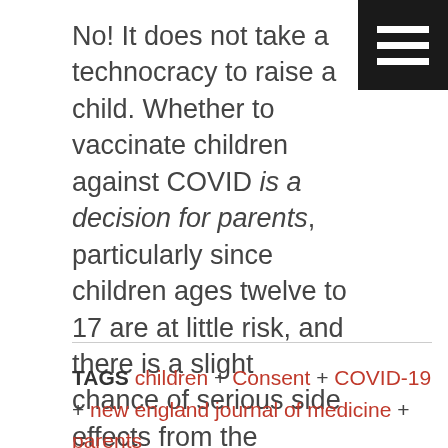No! It does not take a technocracy to raise a child. Whether to vaccinate children against COVID is a decision for parents, particularly since children ages twelve to 17 are at little risk, and there is a slight chance of serious side effects from the vaccine.
And these smarter-than-thou types wonder why millions of people no longer trust the medical establishment and our public-health institutions.
TAGS children + Consent + COVID-19 + new england journal of medicine + parents + vaccine mandates